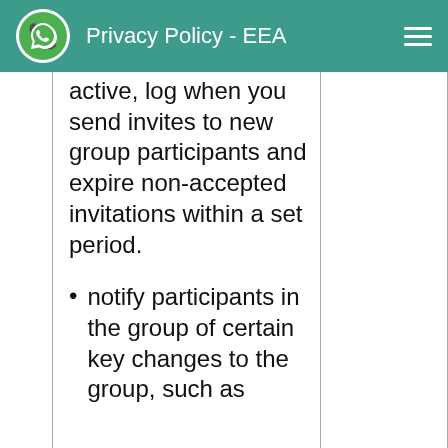Privacy Policy - EEA
active, log when you send invites to new group participants and expire non-accepted invitations within a set period.
notify participants in the group of certain key changes to the group, such as